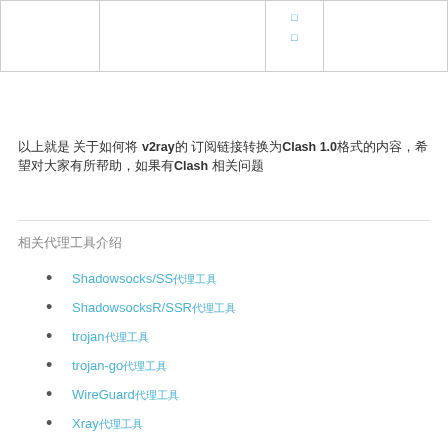|  |  |  |  |
| --- | --- | --- | --- |
|  |  | □
□ |  |
以上就是 关于如何将 v2ray的 订阅链接转换为Clash 1.0格式的内容，希望对大家有所帮助，如果有Clash 相关问题
相关代理工具介绍
Shadowsocks/SS代理工具
ShadowsocksR/SSR代理工具
trojan代理工具
trojan-go代理工具
WireGuard代理工具
Xray代理工具